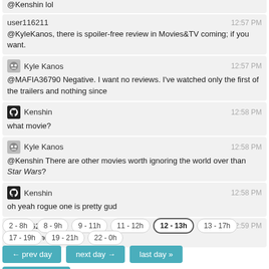@Kenshin lol
user116211  12:57 PM
@KyleKanos, there is spoiler-free review in Movies&TV coming; if you want.
Kyle Kanos  12:57 PM
@MAFIA36790 Negative. I want no reviews. I've watched only the first of the trailers and nothing since
Kenshin  12:58 PM
what movie?
Kyle Kanos  12:58 PM
@Kenshin There are other movies worth ignoring the world over than Star Wars?
Kenshin  12:58 PM
oh yeah rogue one is pretty gud
user116211  12:59 PM
@KyleKanos okayish.
2 - 8h
8 - 9h
9 - 11h
11 - 12h
12 - 13h
13 - 17h
17 - 19h
19 - 21h
22 - 0h
← prev day
next day →
last day »
join this room